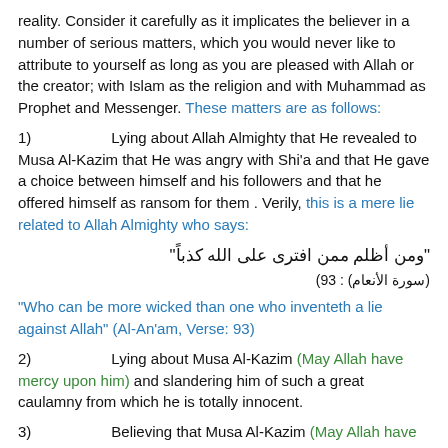reality. Consider it carefully as it implicates the believer in a number of serious matters, which you would never like to attribute to yourself as long as you are pleased with Allah or the creator; with Islam as the religion and with Muhammad as Prophet and Messenger. These matters are as follows:
1) Lying about Allah Almighty that He revealed to Musa Al-Kazim that He was angry with Shi'a and that He gave a choice between himself and his followers and that he offered himself as ransom for them . Verily, this is a mere lie related to Allah Almighty who says:
"ومن أظلم ممن افترى على الله كذباً"
(سورة الأنعام) : 93)
"Who can be more wicked than one who inventeth a lie against Allah" (Al-An'am, Verse: 93)
2) Lying about Musa Al-Kazim (May Allah have mercy upon him) and slandering him of such a great caulamny from which he is totally innocent.
3) Believing that Musa Al-Kazim (May Allah have mercy upon him) was a Prophet. By Allah, he was neither a Prophet nor a Messenger. Does the claim of the imposter that Allah told